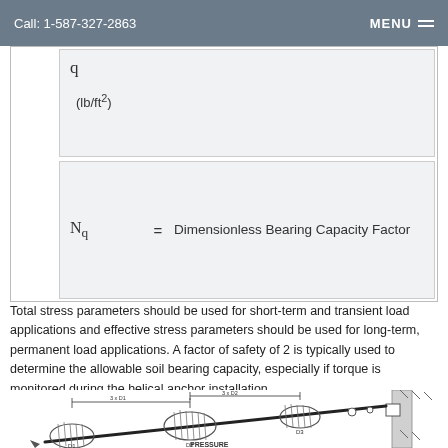Call: 1-587-327-2863    MENU
| Symbol | = | Description |
| --- | --- | --- |
| q | = | (lb/ft²) |
| Nq | = | Dimensionless Bearing Capacity Factor |
Total stress parameters should be used for short-term and transient load applications and effective stress parameters should be used for long-term, permanent load applications. A factor of safety of 2 is typically used to determine the allowable soil bearing capacity, especially if torque is monitored during the helical anchor installation.
[Figure (engineering-diagram): Helical anchor installation diagram showing helix plates labeled D1, D2, D3 spaced at 3×D1 and 3×D2 intervals along an anchor shaft connected to a wall, with PRESSURE label at bottom. Indicates spacing requirements for multiple helices.]